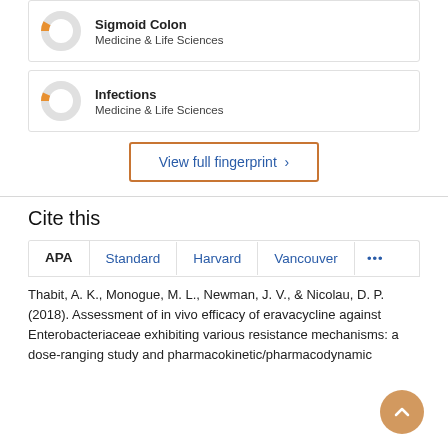[Figure (donut-chart): Small donut chart with orange slice, labeled Sigmoid Colon, Medicine & Life Sciences]
[Figure (donut-chart): Small donut chart with orange slice, labeled Infections, Medicine & Life Sciences]
View full fingerprint ›
Cite this
APA  Standard  Harvard  Vancouver  ...
Thabit, A. K., Monogue, M. L., Newman, J. V., & Nicolau, D. P. (2018). Assessment of in vivo efficacy of eravacycline against Enterobacteriaceae exhibiting various resistance mechanisms: a dose-ranging study and pharmacokinetic/pharmacodynamic